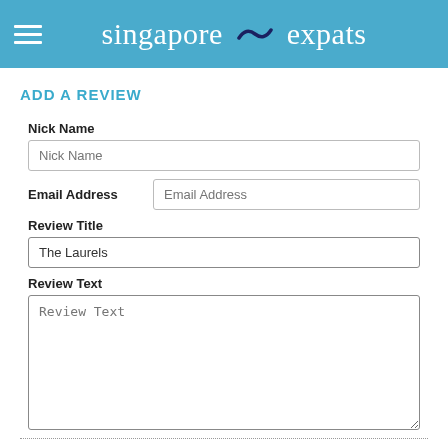singapore expats
ADD A REVIEW
Nick Name
Email Address
Review Title
The Laurels
Review Text
Recommended For
Please choose one or more recommendations